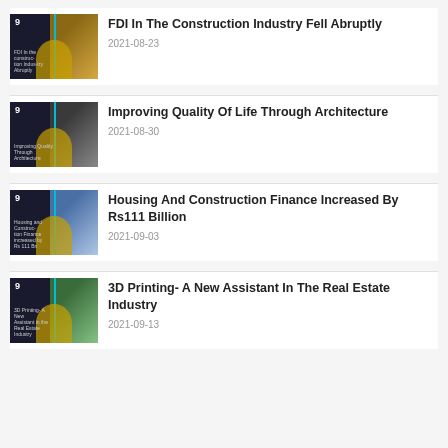FDI In The Construction Industry Fell Abruptly
2021-08-23
Improving Quality Of Life Through Architecture
2021-08-30
Housing And Construction Finance Increased By Rs111 Billion
2021-09-03
3D Printing- A New Assistant In The Real Estate Industry
2021-09-13